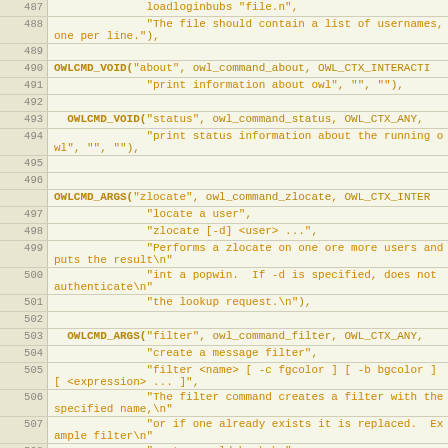[Figure (screenshot): Source code listing showing C code with line numbers 487-510, featuring OWLCMD_VOID and OWLCMD_ARGS macro calls with string arguments for owl command definitions including about, status, zlocate, and filter commands.]